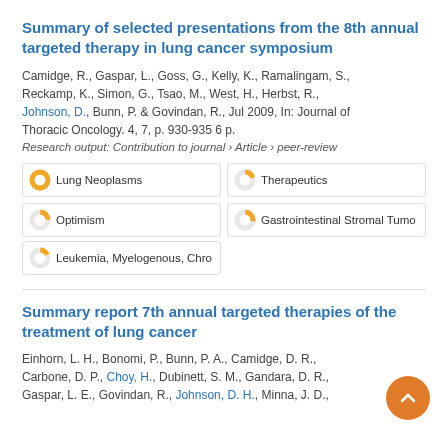Summary of selected presentations from the 8th annual targeted therapy in lung cancer symposium
Camidge, R., Gaspar, L., Goss, G., Kelly, K., Ramalingam, S., Reckamp, K., Simon, G., Tsao, M., West, H., Herbst, R., Johnson, D., Bunn, P. & Govindan, R., Jul 2009, In: Journal of Thoracic Oncology. 4, 7, p. 930-935 6 p.
Research output: Contribution to journal › Article › peer-review
Lung Neoplasms | Therapeutics | Optimism | Gastrointestinal Stromal Tumo | Leukemia, Myelogenous, Chro
Summary report 7th annual targeted therapies of the treatment of lung cancer
Einhorn, L. H., Bonomi, P., Bunn, P. A., Camidge, D. R., Carbone, D. P., Choy, H., Dubinett, S. M., Gandara, D. R., Gaspar, L. E., Govindan, R., Johnson, D. H., Minna, J. D.,